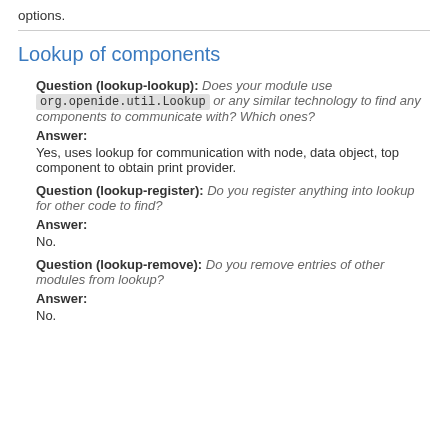options.
Lookup of components
Question (lookup-lookup): Does your module use org.openide.util.Lookup or any similar technology to find any components to communicate with? Which ones?
Answer:
Yes, uses lookup for communication with node, data object, top component to obtain print provider.
Question (lookup-register): Do you register anything into lookup for other code to find?
Answer:
No.
Question (lookup-remove): Do you remove entries of other modules from lookup?
Answer:
No.